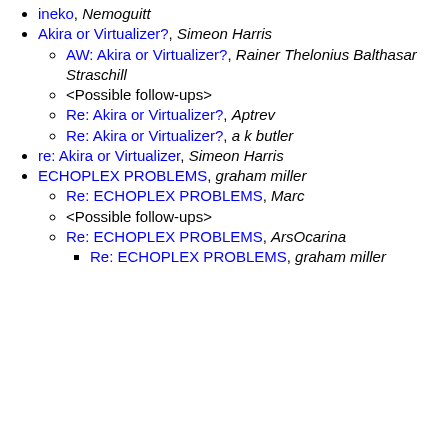ineko, Nemoguitt
Akira or Virtualizer?, Simeon Harris
AW: Akira or Virtualizer?, Rainer Thelonius Balthasar Straschill
<Possible follow-ups>
Re: Akira or Virtualizer?, Aptrev
Re: Akira or Virtualizer?, a k butler
re: Akira or Virtualizer, Simeon Harris
ECHOPLEX PROBLEMS, graham miller
Re: ECHOPLEX PROBLEMS, Marc
<Possible follow-ups>
Re: ECHOPLEX PROBLEMS, ArsOcarina
Re: ECHOPLEX PROBLEMS, graham miller